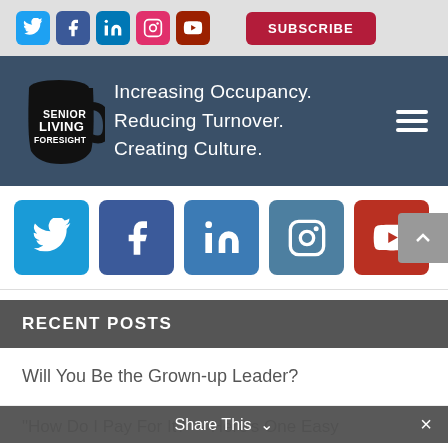[Figure (screenshot): Social media icon buttons (Twitter, Facebook, LinkedIn, Instagram, YouTube) and a Subscribe button in the top bar]
[Figure (logo): Senior Living Foresight logo with mug and tagline: Increasing Occupancy. Reducing Turnover. Creating Culture.]
[Figure (screenshot): Large social media icon buttons row: Twitter, Facebook, LinkedIn, Instagram, YouTube]
RECENT POSTS
Will You Be the Grown-up Leader?
"How Do I Pay For It?" – Here's One Easy